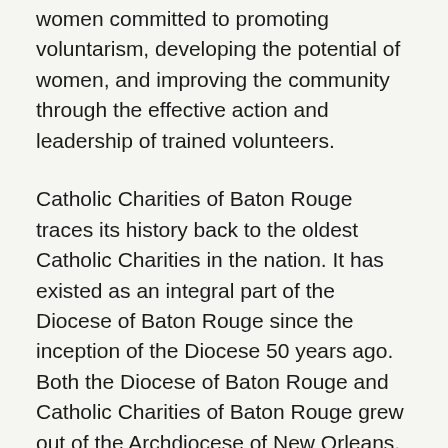women committed to promoting voluntarism, developing the potential of women, and improving the community through the effective action and leadership of trained volunteers.
Catholic Charities of Baton Rouge traces its history back to the oldest Catholic Charities in the nation. It has existed as an integral part of the Diocese of Baton Rouge since the inception of the Diocese 50 years ago. Both the Diocese of Baton Rouge and Catholic Charities of Baton Rouge grew out of the Archdiocese of New Orleans, and its Catholic Charities agency was the first in the U.S., established in the 1805. The Baton Rouge agency serves those most in need with an array of comprehensive programs that include employment training, direct assistance, adoption, child-welfare services, and comprehensive supportive services for pregnant women, refugees, families in poverty, and ex-offenders. We are the area's leading disaster